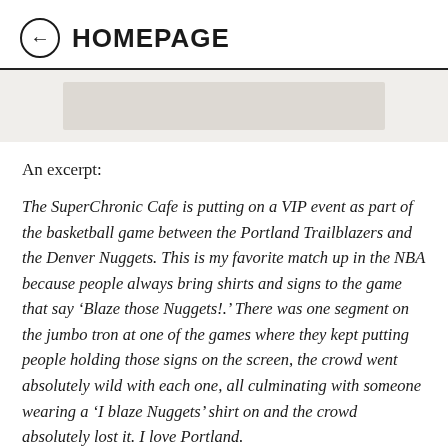HOMEPAGE
[Figure (photo): Image placeholder with light gray background]
An excerpt:
The SuperChronic Cafe is putting on a VIP event as part of the basketball game between the Portland Trailblazers and the Denver Nuggets. This is my favorite match up in the NBA because people always bring shirts and signs to the game that say ‘Blaze those Nuggets!.’ There was one segment on the jumbo tron at one of the games where they kept putting people holding those signs on the screen, the crowd went absolutely wild with each one, all culminating with someone wearing a ‘I blaze Nuggets’ shirt on and the crowd absolutely lost it. I love Portland.